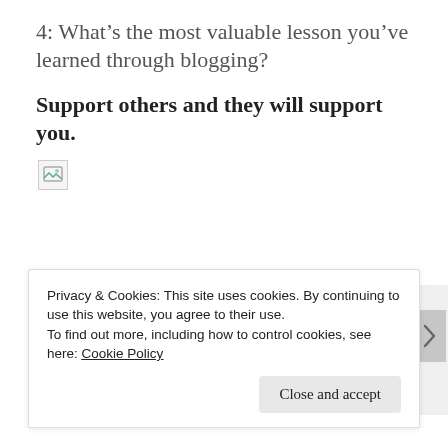4: What’s the most valuable lesson you’ve learned through blogging?
Support others and they will support you.
[Figure (illustration): Broken image placeholder icon (small, top-left area)]
[Figure (screenshot): Embedded card snippet showing bold text 'And free.' and a row of circular avatar photos including a blue plus button]
Privacy & Cookies: This site uses cookies. By continuing to use this website, you agree to their use.
To find out more, including how to control cookies, see here: Cookie Policy
Close and accept